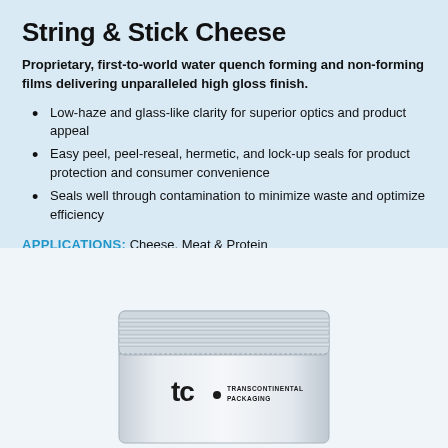String & Stick Cheese
Proprietary, first-to-world water quench forming and non-forming films delivering unparalleled high gloss finish.
Low-haze and glass-like clarity for superior optics and product appeal
Easy peel, peel-reseal, hermetic, and lock-up seals for product protection and consumer convenience
Seals well through contamination to minimize waste and optimize efficiency
APPLICATIONS: Cheese, Meat & Protein
[Figure (photo): A white/silver resealable pouch with horizontal ribbed lines at top, branded with 'tc · TRANSCONTINENTAL PACKAGING' logo in dark text on the front.]